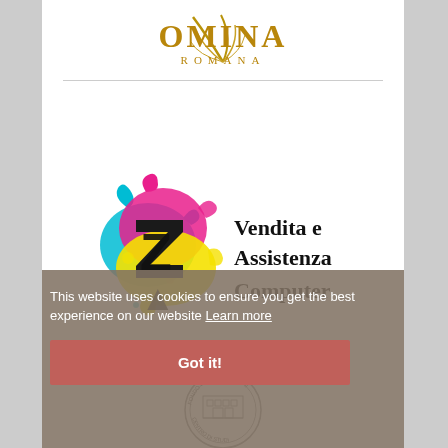[Figure (logo): OMINA ROMANA logo with stylized leaf/feather icon in gold and the text OMINA ROMANA]
[Figure (logo): ZAMA logo with cyan, magenta, yellow ink splash shapes and text: Vendita e Assistenza Computer]
This website uses cookies to ensure you get the best experience on our website Learn more
[Figure (illustration): Cookie consent Got it! button in red/salmon color]
BIBLIOTECA ITALO-TEDESCA DI ROMA
[Figure (illustration): Circular stamp: FONDO BETTONI POJAGHI - CENTRO DI STUDI with architectural illustration inside]
FONDO SAMMLUNG BETTONI